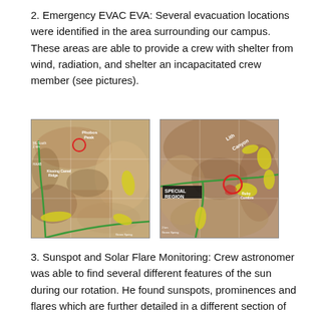2. Emergency EVAC EVA: Several evacuation locations were identified in the area surrounding our campus. These areas are able to provide a crew with shelter from wind, radiation, and shelter an incapacitated crew member (see pictures).
[Figure (map): Aerial/satellite map showing terrain with green route lines, yellow highlights, and a red circle marking an evacuation location. Labels include 'Kissing Camel Ridge' and 'Phobos Peak'.]
[Figure (map): Aerial/satellite map showing terrain with green route lines, yellow highlights, a red circle, and a black box labeled 'SPECIAL REGION'. Labels include 'Lith Canyon' and 'Ruby Cumbre'.]
3. Sunspot and Solar Flare Monitoring: Crew astronomer was able to find several different features of the sun during our rotation. He found sunspots, prominences and flares which are further detailed in a different section of this report.